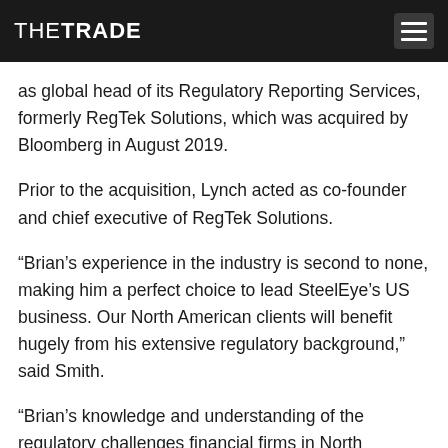THETRADE
as global head of its Regulatory Reporting Services, formerly RegTek Solutions, which was acquired by Bloomberg in August 2019.
Prior to the acquisition, Lynch acted as co-founder and chief executive of RegTek Solutions.
“Brian’s experience in the industry is second to none, making him a perfect choice to lead SteelEye’s US business. Our North American clients will benefit hugely from his extensive regulatory background,” said Smith.
“Brian’s knowledge and understanding of the regulatory challenges financial firms in North America face will be invaluable. I look forward to working closely with Brian as we continue to build out SteelEye’s North American